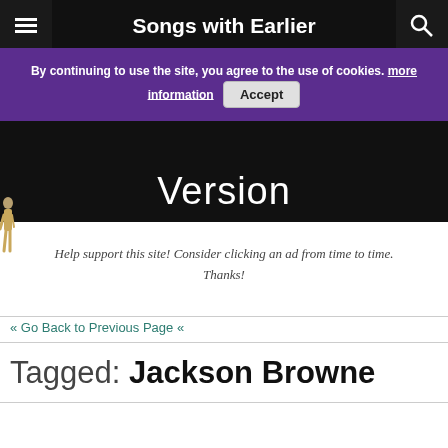Songs with Earlier Version
By continuing to use the site, you agree to the use of cookies. more information  Accept
Version
Help support this site! Consider clicking an ad from time to time. Thanks!
« Go Back to Previous Page «
Tagged: Jackson Browne